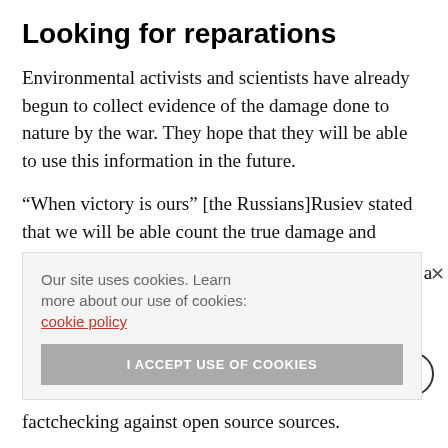Looking for reparations
Environmental activists and scientists have already begun to collect evidence of the damage done to nature by the war. They hope that they will be able to use this information in the future.
“When victory is ours” [the Russians]Rusiev stated that we will be able count the true damage and present it the barbarians who trampled upon us.”
…has created a …n-to– …for people …l report war …nation and factchecking against open source sources.
Our site uses cookies. Learn more about our use of cookies: cookie policy
I ACCEPT USE OF COOKIES